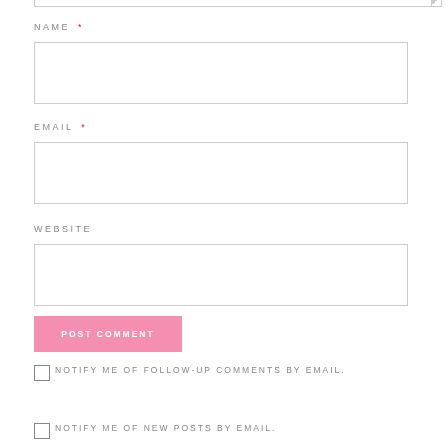NAME *
EMAIL *
WEBSITE
POST COMMENT
NOTIFY ME OF FOLLOW-UP COMMENTS BY EMAIL.
NOTIFY ME OF NEW POSTS BY EMAIL.